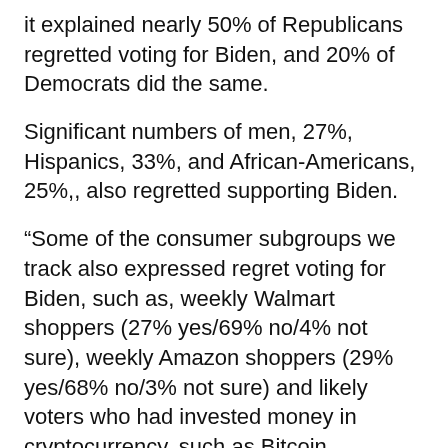it explained nearly 50% of Republicans regretted voting for Biden, and 20% of Democrats did the same.
Significant numbers of men, 27%, Hispanics, 33%, and African-Americans, 25%,, also regretted supporting Biden.
“Some of the consumer subgroups we track also expressed regret voting for Biden, such as, weekly Walmart shoppers (27% yes/69% no/4% not sure), weekly Amazon shoppers (29% yes/68% no/3% not sure) and likely voters who had invested money in cryptocurrency, such as Bitcoin, Ethereum, and Litecoin (44% yes/53% no/3% not sure),” the poll said.